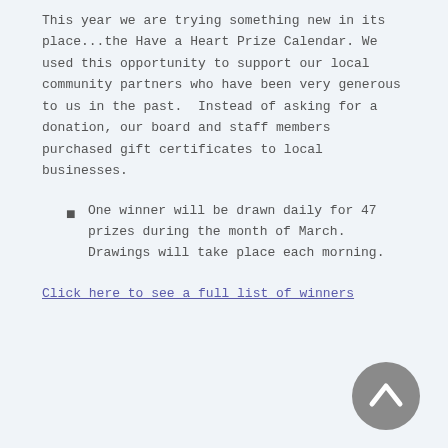This year we are trying something new in its place...the Have a Heart Prize Calendar. We used this opportunity to support our local community partners who have been very generous to us in the past.  Instead of asking for a donation, our board and staff members purchased gift certificates to local businesses.
One winner will be drawn daily for 47 prizes during the month of March. Drawings will take place each morning.
Click here to see a full list of winners
[Figure (other): Gray circular back-to-top button with upward chevron arrow icon]